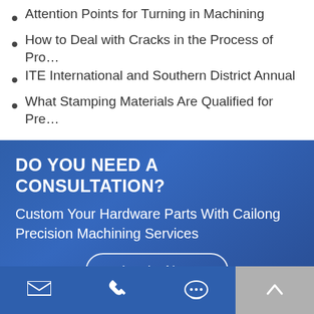Attention Points for Turning in Machining
How to Deal with Cracks in the Process of Pro…
ITE International and Southern District Annual
What Stamping Materials Are Qualified for Pre…
DO YOU NEED A CONSULTATION?
Custom Your Hardware Parts With Cailong Precision Machining Services
Inquiry Now